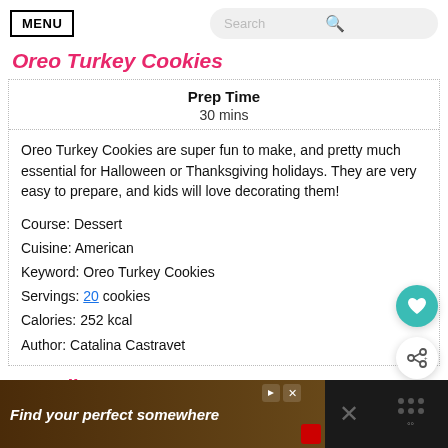MENU | Search
Oreo Turkey Cookies
Prep Time
30 mins
Oreo Turkey Cookies are super fun to make, and pretty much essential for Halloween or Thanksgiving holidays. They are very easy to prepare, and kids will love decorating them!
Course: Dessert
Cuisine: American
Keyword: Oreo Turkey Cookies
Servings: 20 cookies
Calories: 252 kcal
Author: Catalina Castravet
Ingredients
Find your perfect somewhere